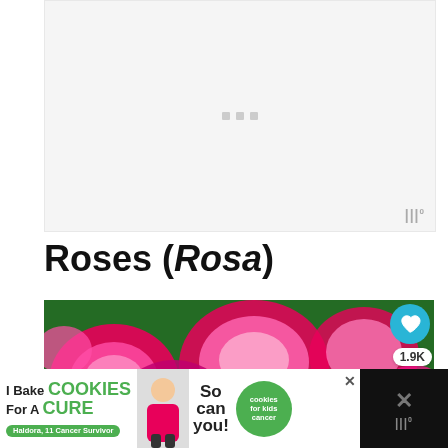[Figure (other): Loading placeholder area with three small grey square dots centered, with a watermark logo in bottom right corner]
Roses (Rosa)
[Figure (photo): Photo of pink/magenta roses in full bloom with green foliage background; social buttons (heart/like button, 1.9K count, share button) overlaid on right side]
[Figure (other): Advertisement banner: I Bake COOKIES For A CURE - Haldora, 11 Cancer Survivor - So can you! - cookies for kids cancer]